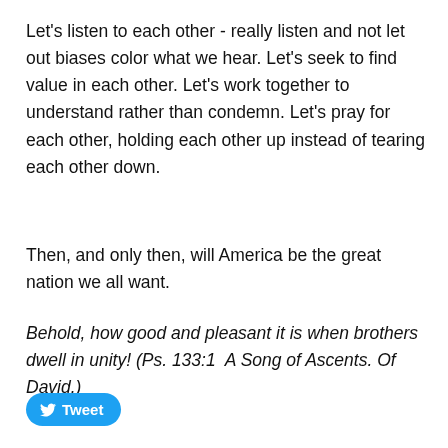Let's listen to each other - really listen and not let out biases color what we hear. Let's seek to find value in each other. Let's work together to understand rather than condemn. Let's pray for each other, holding each other up instead of tearing each other down.
Then, and only then, will America be the great nation we all want.
Behold, how good and pleasant it is when brothers dwell in unity! (Ps. 133:1  A Song of Ascents. Of David.)